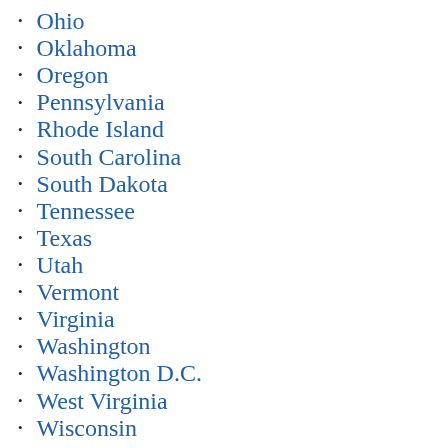Ohio
Oklahoma
Oregon
Pennsylvania
Rhode Island
South Carolina
South Dakota
Tennessee
Texas
Utah
Vermont
Virginia
Washington
Washington D.C.
West Virginia
Wisconsin